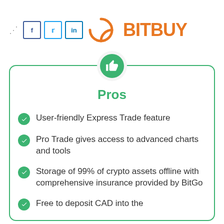[Figure (logo): BITBUY logo with orange circular arrow graphic and social media share icons (Facebook, Twitter, LinkedIn)]
Pros
User-friendly Express Trade feature
Pro Trade gives access to advanced charts and tools
Storage of 99% of crypto assets offline with comprehensive insurance provided by BitGo
Free to deposit CAD into the